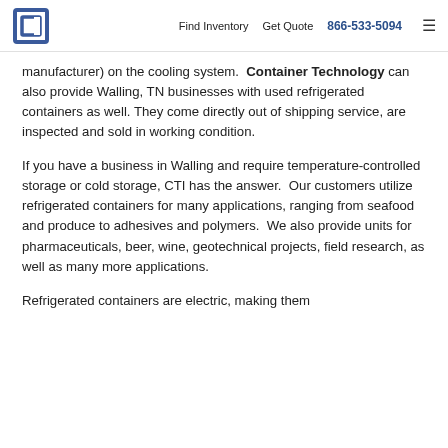Find Inventory   Get Quote   866-533-5094
manufacturer) on the cooling system. Container Technology can also provide Walling, TN businesses with used refrigerated containers as well. They come directly out of shipping service, are inspected and sold in working condition.
If you have a business in Walling and require temperature-controlled storage or cold storage, CTI has the answer. Our customers utilize refrigerated containers for many applications, ranging from seafood and produce to adhesives and polymers. We also provide units for pharmaceuticals, beer, wine, geotechnical projects, field research, as well as many more applications.
Refrigerated containers are electric, making them